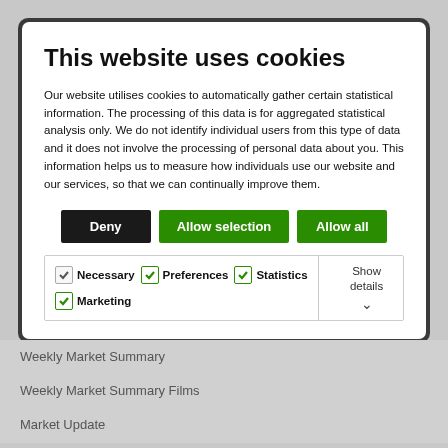This website uses cookies
Our website utilises cookies to automatically gather certain statistical information. The processing of this data is for aggregated statistical analysis only. We do not identify individual users from this type of data and it does not involve the processing of personal data about you. This information helps us to measure how individuals use our website and our services, so that we can continually improve them.
[Figure (screenshot): Cookie consent dialog with Deny, Allow selection, and Allow all buttons, and checkboxes for Necessary, Preferences, Statistics, Marketing]
Weekly Market Summary
Weekly Market Summary Films
Market Update